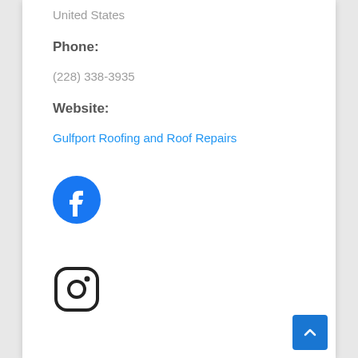United States
Phone:
(228) 338-3935
Website:
Gulfport Roofing and Roof Repairs
[Figure (logo): Facebook logo icon - blue circle with white F]
[Figure (logo): Instagram logo icon - rounded square with camera outline and dot]